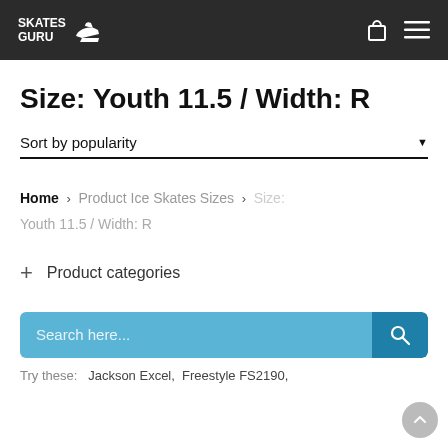SKATES GURU
Size: Youth 11.5 / Width: R
Sort by popularity
Home > Product Ice Skates Sizes > Size: Youth 11.5 / Width: R
+ Product categories
Search here...
Try these:  Jackson Excel,  Freestyle FS2190,